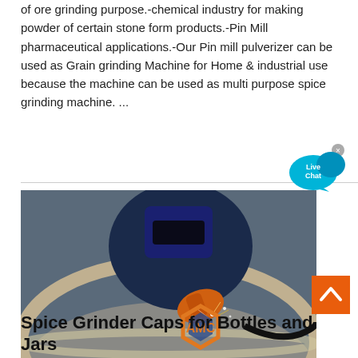of ore grinding purpose.-chemical industry for making powder of certain stone form products.-Pin Mill pharmaceutical applications.-Our Pin mill pulverizer can be used as Grain grinding Machine for Home & industrial use because the machine can be used as multi purpose spice grinding machine. ...
[Figure (photo): A welder wearing protective gear welding inside a large metal vessel, with sparks flying. An AMC logo is visible in the lower right of the image.]
[Figure (other): Live Chat speech bubble button in cyan/blue color]
[Figure (other): Back to top button — orange square with white upward chevron]
Spice Grinder Caps for Bottles and Jars